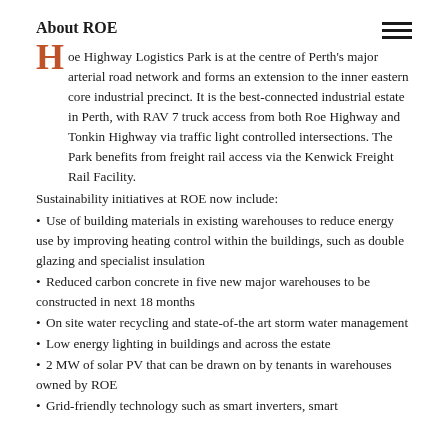About ROE
Roe Highway Logistics Park is at the centre of Perth's major arterial road network and forms an extension to the inner eastern core industrial precinct. It is the best-connected industrial estate in Perth, with RAV 7 truck access from both Roe Highway and Tonkin Highway via traffic light controlled intersections. The Park benefits from freight rail access via the Kenwick Freight Rail Facility.
Sustainability initiatives at ROE now include:
Use of building materials in existing warehouses to reduce energy use by improving heating control within the buildings, such as double glazing and specialist insulation
Reduced carbon concrete in five new major warehouses to be constructed in next 18 months
On site water recycling and state-of-the art storm water management
Low energy lighting in buildings and across the estate
2 MW of solar PV that can be drawn on by tenants in warehouses owned by ROE
Grid-friendly technology such as smart inverters, smart